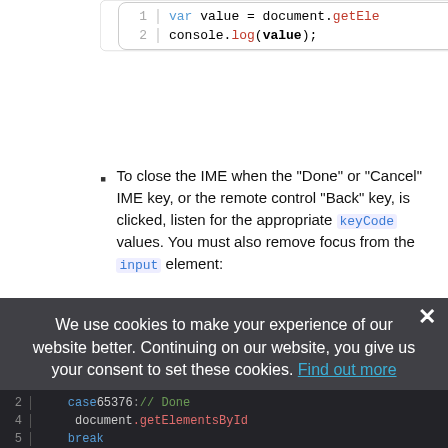[Figure (screenshot): Code editor showing two lines: 'var value = document.getEle...' and 'console.log(value);' with line numbers 1 and 2, with theme toggle and copy icons in top right]
To close the IME when the "Done" or "Cancel" IME key, or the remote control "Back" key, is clicked, listen for the appropriate keyCode values. You must also remove focus from the input element:
[Figure (screenshot): Cookie consent overlay with dark background showing: 'We use cookies to make your experience of our website better. Continuing on our website, you give us your consent to set these cookies. Find out more' with a close X button, and dark code block below showing lines 2-5 with case 65376: // Done, document.getElementById, break]
We use cookies to make your experience of our website better. Continuing on our website, you give us your consent to set these cookies. Find out more